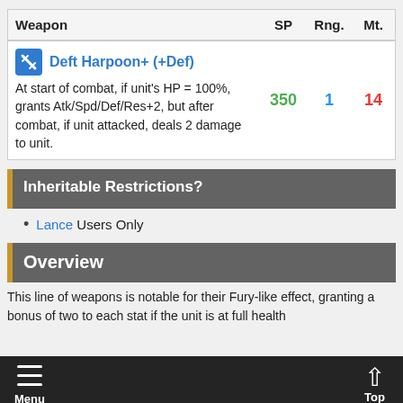| Weapon | SP | Rng. | Mt. |
| --- | --- | --- | --- |
| Deft Harpoon+ (+Def)
At start of combat, if unit's HP = 100%, grants Atk/Spd/Def/Res+2, but after combat, if unit attacked, deals 2 damage to unit. | 350 | 1 | 14 |
Inheritable Restrictions?
Lance Users Only
Overview
This line of weapons is notable for their Fury-like effect, granting a bonus of two to each stat if the unit is at full health